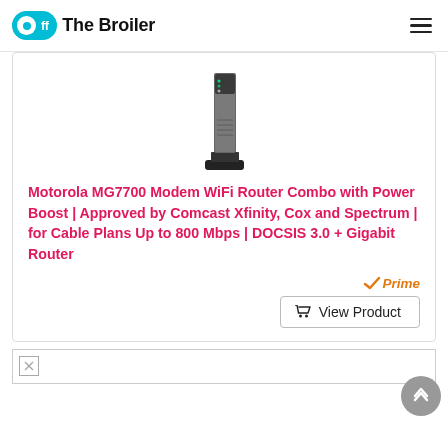Off The Broiler
[Figure (photo): Motorola MG7700 modem router product image — a tall dark gray tower-style modem/router device]
Motorola MG7700 Modem WiFi Router Combo with Power Boost | Approved by Comcast Xfinity, Cox and Spectrum | for Cable Plans Up to 800 Mbps | DOCSIS 3.0 + Gigabit Router
[Figure (logo): Amazon Prime badge with checkmark and italic 'Prime' text in orange]
[Figure (other): View Product button with shopping cart icon]
[Figure (photo): Bottom image strip — partially loaded image placeholder]